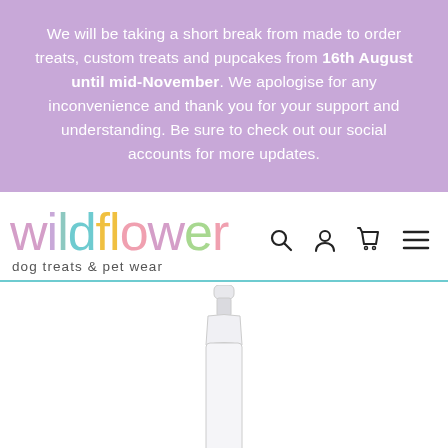We will be taking a short break from made to order treats, custom treats and pupcakes from 16th August until mid-November. We apologise for any inconvenience and thank you for your support and understanding. Be sure to check out our social accounts for more updates.
[Figure (logo): Wildflower dog treats & pet wear logo with colourful cursive script and navigation icons (search, user, cart, menu)]
[Figure (photo): Partial product image showing the tip/nozzle of a white squeeze bottle or tube, cut off at bottom of page]